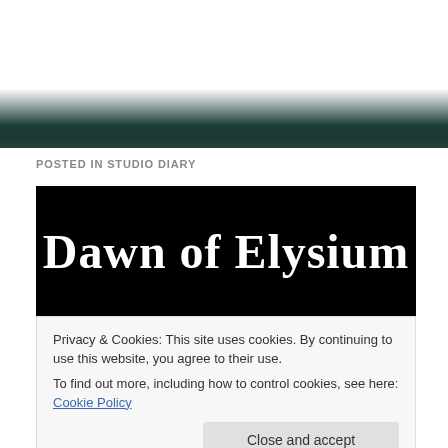[Figure (illustration): Top portion of a webpage showing a decorative dark teal/green gradient banner image area]
POSTED IN STUDIO DIARY
[Figure (logo): Black banner with white gothic/medieval style text reading 'Dawn of Elysium']
Privacy & Cookies: This site uses cookies. By continuing to use this website, you agree to their use.
To find out more, including how to control cookies, see here: Cookie Policy
Close and accept